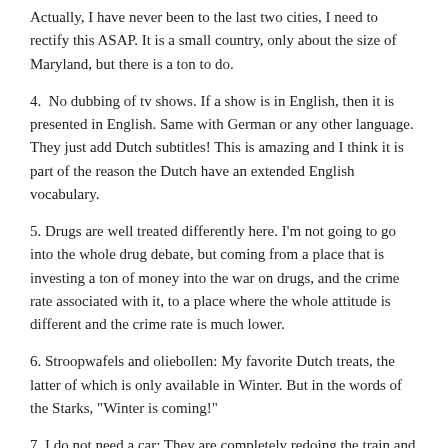Actually, I have never been to the last two cities, I need to rectify this ASAP. It is a small country, only about the size of Maryland, but there is a ton to do.
4.  No dubbing of tv shows. If a show is in English, then it is presented in English. Same with German or any other language. They just add Dutch subtitles! This is amazing and I think it is part of the reason the Dutch have an extended English vocabulary.
5. Drugs are well treated differently here. I'm not going to go into the whole drug debate, but coming from a place that is investing a ton of money into the war on drugs, and the crime rate associated with it, to a place where the whole attitude is different and the crime rate is much lower.
6. Stroopwafels and oliebollen: My favorite Dutch treats, the latter of which is only available in Winter. But in the words of the Starks, "Winter is coming!"
7. I do not need a car: They are completely redoing the train and bus station here in Utrecht, and while it is driving me bonkers, I am glad that I do not have to drive a car. I hate driving!
8. I have great friends: Seriously, you just have to reach out and people are there to hang out with you. And, they make the days that you have